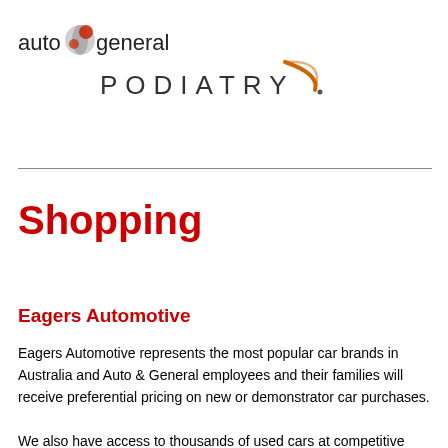[Figure (logo): Auto & General logo — text 'auto & general' with a stylized red/grey globe icon]
[Figure (logo): Podiatry logo — text 'PODIATRY' in dark grey capitals with an orange swoosh/smile graphic]
Shopping
Eagers Automotive
Eagers Automotive represents the most popular car brands in Australia and Auto & General employees and their families will receive preferential pricing on new or demonstrator car purchases.
We also have access to thousands of used cars at competitive